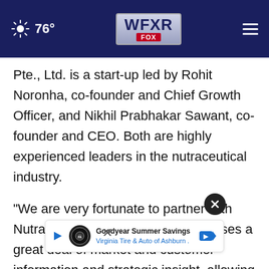76° WFXR FOX
Pte., Ltd. is a start-up led by Rohit Noronha, co-founder and Chief Growth Officer, and Nikhil Prabhakar Sawant, co-founder and CEO. Both are highly experienced leaders in the nutraceutical industry.
"We are very fortunate to partner with Nutraconnect, as their team possesses a great deal of market and customer information and strategic insight, allowing for quick responses to pote...e,"
confides Jean-Mario Raymond, CEO and Founder
[Figure (screenshot): Goodyear Summer Savings advertisement banner - Virginia Tire & Auto of Ashburn]